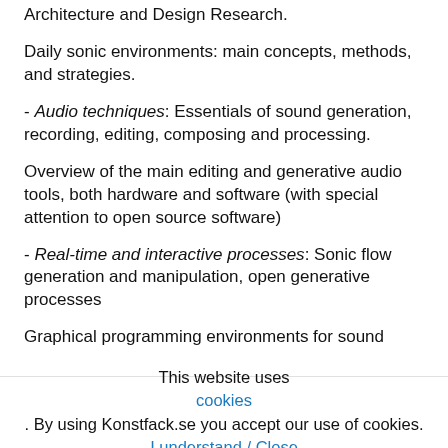Architecture and Design Research.
Daily sonic environments: main concepts, methods, and strategies.
- Audio techniques: Essentials of sound generation, recording, editing, composing and processing.
Overview of the main editing and generative audio tools, both hardware and software (with special attention to open source software)
- Real-time and interactive processes: Sonic flow generation and manipulation, open generative processes
Graphical programming environments for sound
This website uses cookies. By using Konstfack.se you accept our use of cookies. I understand / Close